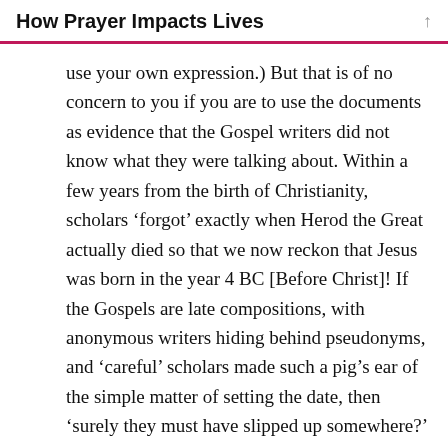How Prayer Impacts Lives
use your own expression.) But that is of no concern to you if you are to use the documents as evidence that the Gospel writers did not know what they were talking about. Within a few years from the birth of Christianity, scholars ‘forgot’ exactly when Herod the Great actually died so that we now reckon that Jesus was born in the year 4 BC [Before Christ]! If the Gospels are late compositions, with anonymous writers hiding behind pseudonyms, and ‘careful’ scholars made such a pig’s ear of the simple matter of setting the date, then ‘surely they must have slipped up somewhere?’ should be